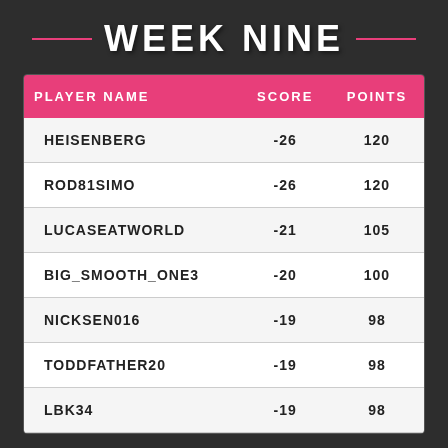WEEK NINE
| PLAYER NAME | SCORE | POINTS |
| --- | --- | --- |
| HEISENBERG | -26 | 120 |
| ROD81SIMO | -26 | 120 |
| LUCASEATWORLD | -21 | 105 |
| BIG_SMOOTH_ONE3 | -20 | 100 |
| NICKSEN016 | -19 | 98 |
| TODDFATHER20 | -19 | 98 |
| LBK34 | -19 | 98 |